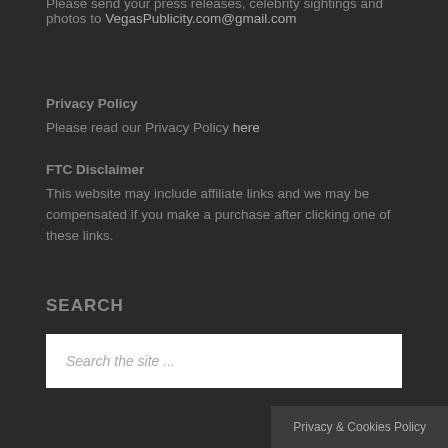Please send your press releases, celebrity sightings and photos to VegasPublicity.com@gmail.com
Privacy Policy
Please read our Privacy Policy here
FTC Disclaimer
This website may include affiliate links and we may be compensated if you make a purchase after clicking one of these links.
SEARCH
Search the site ...
Privacy & Cookies Policy